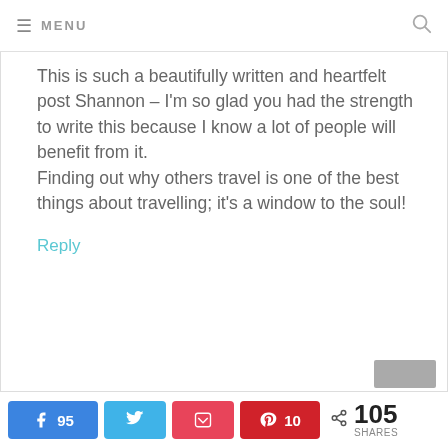≡ MENU
This is such a beautifully written and heartfelt post Shannon – I'm so glad you had the strength to write this because I know a lot of people will benefit from it. Finding out why others travel is one of the best things about travelling; it's a window to the soul!
Reply
95 [Facebook] [Twitter] [Pocket] 10 [Pinterest] < 105 SHARES